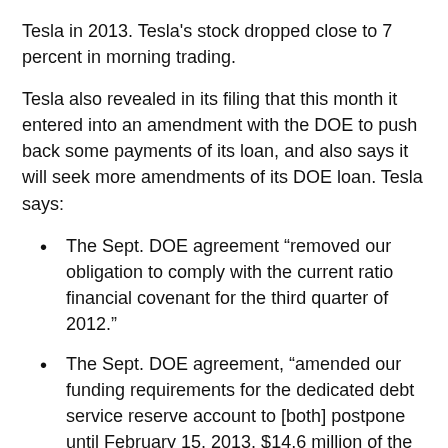Tesla in 2013. Tesla's stock dropped close to 7 percent in morning trading.
Tesla also revealed in its filing that this month it entered into an amendment with the DOE to push back some payments of its loan, and also says it will seek more amendments of its DOE loan. Tesla says:
The Sept. DOE agreement “removed our obligation to comply with the current ratio financial covenant for the third quarter of 2012.”
The Sept. DOE agreement, “amended our funding requirements for the dedicated debt service reserve account to [both] postpone until February 15, 2013, $14.6 million of the $28.8 million pre-funding payment originally due on October 15, 2012; and [also] make additional pre-funding payments, beginning June 15, 2013, of between